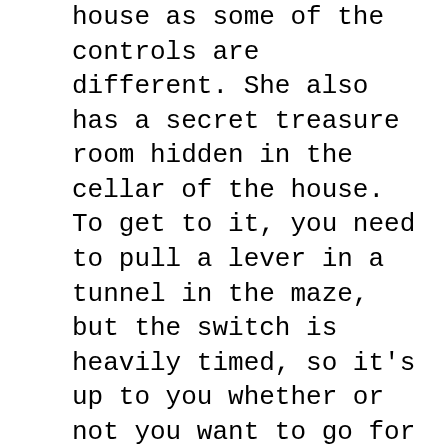house as some of the controls are different. She also has a secret treasure room hidden in the cellar of the house. To get to it, you need to pull a lever in a tunnel in the maze, but the switch is heavily timed, so it's up to you whether or not you want to go for it!
Lara's Butler
Lara's butler has an annoying habit of following her around and getting in her way...to avoid this, go and wait in the kitchen cold room for him to follow you in there, then run out and lock him in by pushing the button next to the door!
Treasure Room
If you decide you want to visit the Treasure Room, open the front door to Lara's mansion and make your way to the maze. The far left corner from where you